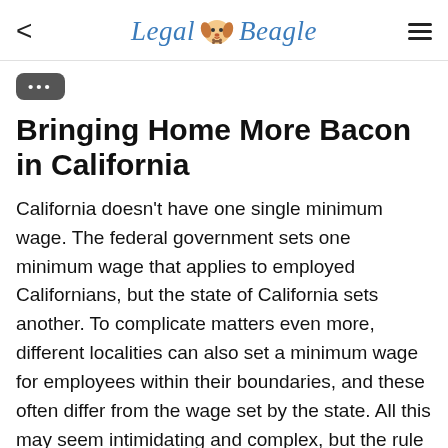Legal Beagle
Bringing Home More Bacon in California
California doesn't have one single minimum wage. The federal government sets one minimum wage that applies to employed Californians, but the state of California sets another. To complicate matters even more, different localities can also set a minimum wage for employees within their boundaries, and these often differ from the wage set by the state. All this may seem intimidating and complex, but the rule for applying these minimum